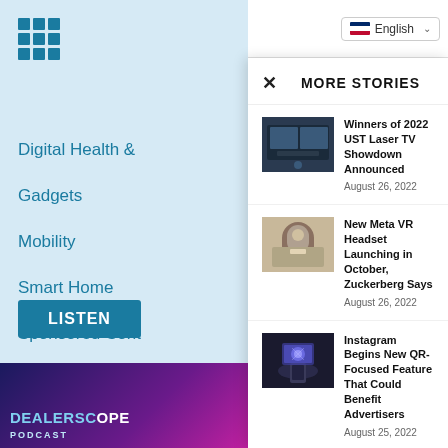[Figure (screenshot): Grid/hamburger menu icon made of blue squares]
Digital Health &
Gadgets
Mobility
Smart Home
Sponsored Cont
Trade Shows
Uncategorized
LISTEN
[Figure (logo): Dealerscope Podcast banner with purple/pink gradient background]
English (language selector)
MORE STORIES
Winners of 2022 UST Laser TV Showdown Announced
August 26, 2022
[Figure (photo): People in a room with large screens showing what appears to be a simulation or game]
New Meta VR Headset Launching in October, Zuckerberg Says
August 26, 2022
[Figure (photo): Person wearing VR headset touching the air with fingers]
Instagram Begins New QR-Focused Feature That Could Benefit Advertisers
August 25, 2022
[Figure (photo): Hand holding smartphone with glowing QR code or holographic display above it]